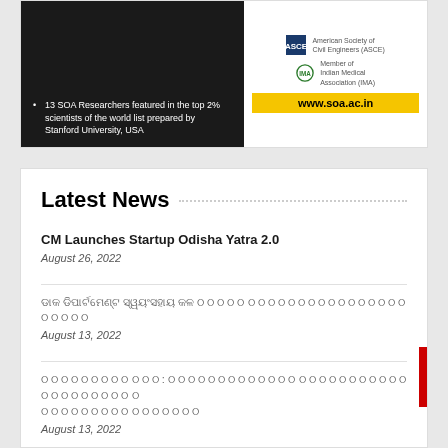[Figure (screenshot): Top card with dark left panel showing SOA researchers bullet point and right panel with ASCE, Indian Medical Association logos and www.soa.ac.in website URL in yellow bar]
Latest News
CM Launches Startup Odisha Yatra 2.0
August 26, 2022
[Odia script text - news headline 1]
August 13, 2022
[Odia script text - news headline 2 multi-line]
August 13, 2022
[Odia script text - news headline 3]